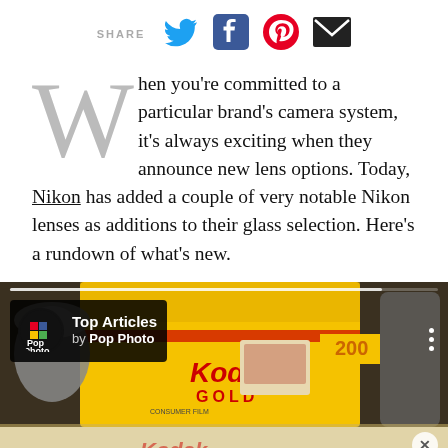SHARE
When you're committed to a particular brand's camera system, it's always exciting when they announce new lens options. Today, Nikon has added a couple of very notable Nikon lenses as additions to their glass selection. Here's a rundown of what's new.
[Figure (photo): Photo of Kodak Gold 200 film boxes and canisters with a Pop Photo 'Top Articles' overlay card on a dark background. A blurred second image strip is visible at the bottom.]